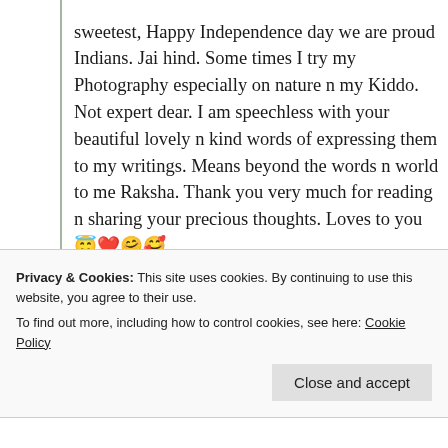sweetest, Happy Independence day we are proud Indians. Jai hind. Some times I try my Photography especially on nature n my Kiddo. Not expert dear. I am speechless with your beautiful lovely n kind words of expressing them to my writings. Means beyond the words n world to me Raksha. Thank you very much for reading n sharing your precious thoughts. Loves to you 😇❤️🤗🤗
Privacy & Cookies: This site uses cookies. By continuing to use this website, you agree to their use. To find out more, including how to control cookies, see here: Cookie Policy